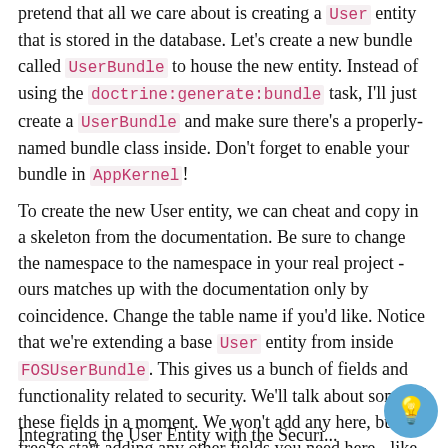pretend that all we care about is creating a User entity that is stored in the database. Let's create a new bundle called UserBundle to house the new entity. Instead of using the doctrine:generate:bundle task, I'll just create a UserBundle and make sure there's a properly-named bundle class inside. Don't forget to enable your bundle in AppKernel!
To create the new User entity, we can cheat and copy in a skeleton from the documentation. Be sure to change the namespace to the namespace in your real project - ours matches up with the documentation only by coincidence. Change the table name if you'd like. Notice that we're extending a base User entity from inside FOSUserBundle. This gives us a bunch of fields and functionality related to security. We'll talk about some of these fields in a moment. We won't add any here, but feel free to start adding any other fields you need here - like firstName or birthday.
Integrating the User Entity with the Security...